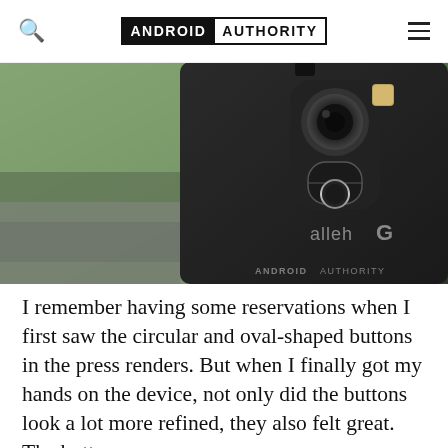ANDROID AUTHORITY
[Figure (photo): Close-up photo of the back of an LG G smartphone in black, showing the rear camera module with circular and oval-shaped buttons, and the 'alleh G' carrier branding. Watermark reads ANDROID AUTHORITY.]
I remember having some reservations when I first saw the circular and oval-shaped buttons in the press renders. But when I finally got my hands on the device, not only did the buttons look a lot more refined, they also felt great. The buttons are